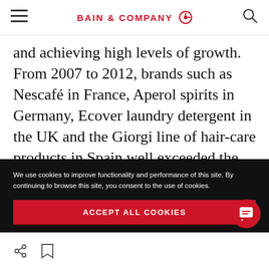BAIN & COMPANY
and achieving high levels of growth. From 2007 to 2012, brands such as Nescafé in France, Aperol spirits in Germany, Ecover laundry detergent in the UK and the Giorgi line of hair-care products in Spain well exceeded the branded category average in annual growth.
We use cookies to improve functionality and performance of this site. By continuing to browse this site, you consent to the use of cookies.
ACCEPT ALL COOKIES